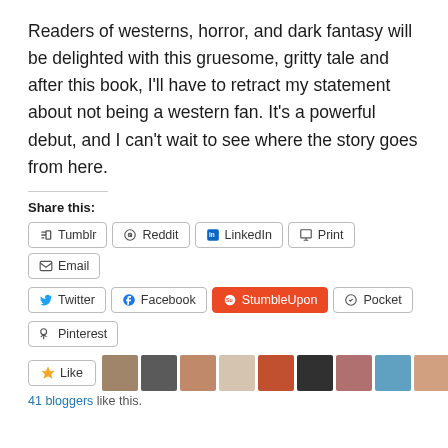Readers of westerns, horror, and dark fantasy will be delighted with this gruesome, gritty tale and after this book, I'll have to retract my statement about not being a western fan. It's a powerful debut, and I can't wait to see where the story goes from here.
Share this:
Tumblr  Reddit  LinkedIn  Print  Email  Twitter  Facebook  StumbleUpon  Pocket  Pinterest
[Figure (other): Like button and row of 10 blogger avatar thumbnails]
41 bloggers like this.